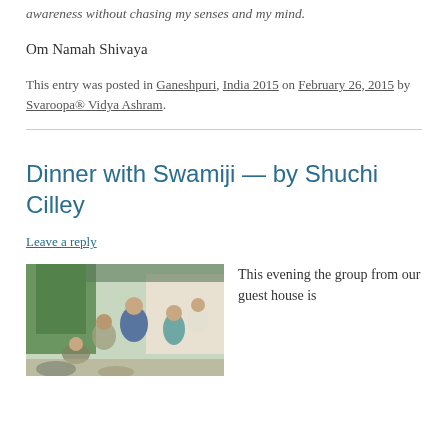awareness without chasing my senses and my mind.
Om Namah Shivaya
This entry was posted in Ganeshpuri, India 2015 on February 26, 2015 by Svaroopa® Vidya Ashram.
Dinner with Swamiji — by Shuchi Cilley
Leave a reply
[Figure (photo): Group of people gathered outdoors at a guest house, trees in background]
This evening the group from our guest house is